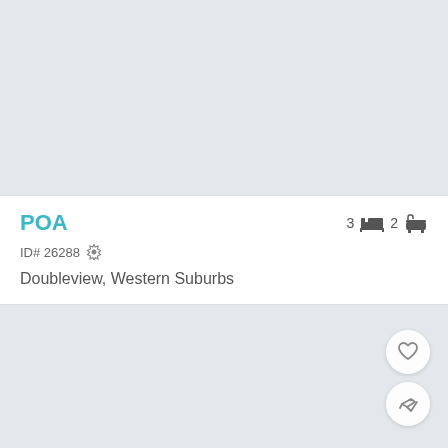[Figure (photo): Top property photo placeholder - light grey background]
POA
ID# 26288
3 beds 2 baths
Doubleview, Western Suburbs
[Figure (photo): Bottom property photo placeholder - light grey background]